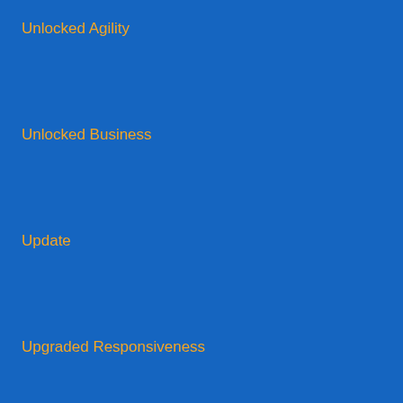Unlocked Agility
Unlocked Business
Update
Upgraded Responsiveness
Upskill
US Army
US Department of Energy
US DOE
US Review of Books